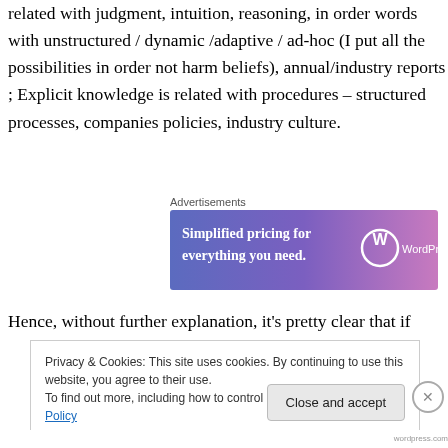related with judgment, intuition, reasoning, in order words with unstructured / dynamic /adaptive / ad-hoc (I put all the possibilities in order not harm beliefs), annual/industry reports ;  Explicit knowledge is related with procedures – structured processes, companies policies, industry culture.
[Figure (other): Advertisement banner for WordPress.com: 'Simplified pricing for everything you need.' with WordPress logo on gradient blue-purple background]
Hence, without further explanation, it's pretty clear that if
Privacy & Cookies: This site uses cookies. By continuing to use this website, you agree to their use.
To find out more, including how to control cookies, see here: Cookie Policy